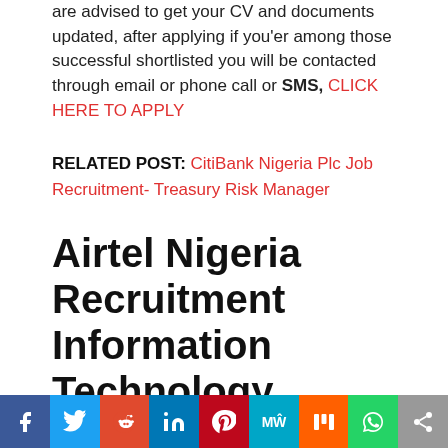are advised to get your CV and documents updated, after applying if you'er among those successful shortlisted you will be contacted through email or phone call or SMS, CLICK HERE TO APPLY
RELATED POST: CitiBank Nigeria Plc Job Recruitment- Treasury Risk Manager
Airtel Nigeria Recruitment Information Technology Security Analyst
[Figure (infographic): Social media sharing bar with icons for Facebook, Twitter, Reddit, LinkedIn, Pinterest, MeWe, Mix, WhatsApp, and Share]